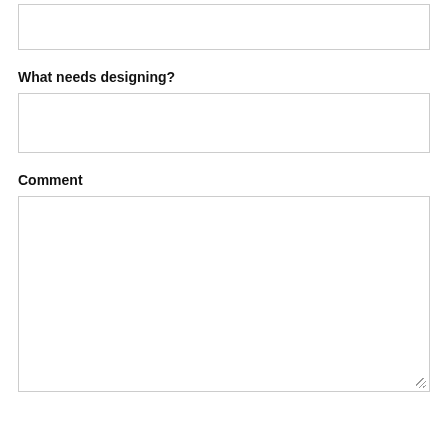[Figure (other): Empty text input box at top of page]
What needs designing?
[Figure (other): Empty text input box for 'What needs designing?']
Comment
[Figure (other): Large empty text area for comment with resize handle]